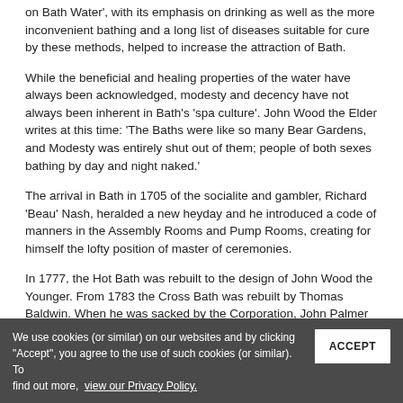on Bath Water', with its emphasis on drinking as well as the more inconvenient bathing and a long list of diseases suitable for cure by these methods, helped to increase the attraction of Bath.
While the beneficial and healing properties of the water have always been acknowledged, modesty and decency have not always been inherent in Bath's 'spa culture'. John Wood the Elder writes at this time: 'The Baths were like so many Bear Gardens, and Modesty was entirely shut out of them; people of both sexes bathing by day and night naked.'
The arrival in Bath in 1705 of the socialite and gambler, Richard 'Beau' Nash, heralded a new heyday and he introduced a code of manners in the Assembly Rooms and Pump Rooms, creating for himself the lofty position of master of ceremonies.
In 1777, the Hot Bath was rebuilt to the design of John Wood the Younger. From 1783 the Cross Bath was rebuilt by Thomas Baldwin. When he was sacked by the Corporation, John Palmer took over and seems ingeniously to have moved Baldwin's north-facing serpentine front to face east along the newly created Bath Street in the 1790s. (Baldwin's plan for this street, together with Beau, Hot B... everal existing m... v In the 1790s, the Great Pump Room was built to replace the now
We use cookies (or similar) on our websites and by clicking "Accept", you agree to the use of such cookies (or similar). To find out more, view our Privacy Policy.